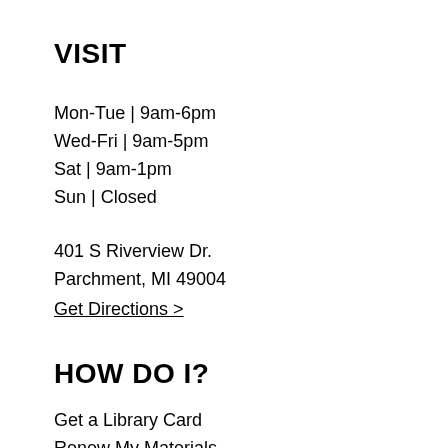VISIT
Mon-Tue | 9am-6pm
Wed-Fri | 9am-5pm
Sat | 9am-1pm
Sun | Closed
401 S Riverview Dr.
Parchment, MI 49004
Get Directions >
HOW DO I?
Get a Library Card
Renew My Materials